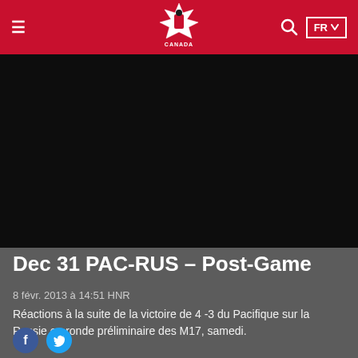Hockey Canada – FR
[Figure (photo): Dark video/image area, nearly black, likely a hockey video thumbnail]
Dec 31 PAC-RUS – Post-Game
8 févr. 2013 à 14:51 HNR
Réactions à la suite de la victoire de 4 -3 du Pacifique sur la Russie en ronde préliminaire des M17, samedi.